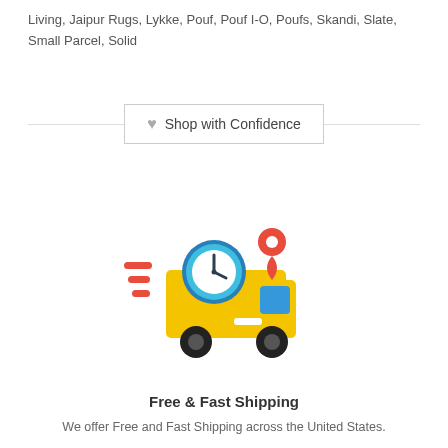Living, Jaipur Rugs, Lykke, Pouf, Pouf I-O, Poufs, Skandi, Slate, Small Parcel, Solid
Shop with Confidence
[Figure (illustration): Colorful flat illustration of a fast delivery truck with a clock and map pin icon, motion lines on the left]
Free & Fast Shipping
We offer Free and Fast Shipping across the United States.